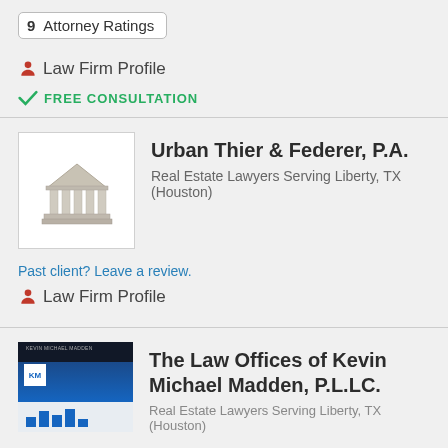9   Attorney Ratings
Law Firm Profile
FREE CONSULTATION
[Figure (illustration): Law firm building/courthouse icon (grey, columned building) in a white bordered box]
Urban Thier & Federer, P.A.
Real Estate Lawyers Serving Liberty, TX (Houston)
Past client? Leave a review.
Law Firm Profile
[Figure (screenshot): Screenshot of The Law Offices of Kevin Michael Madden website with KM logo and blue design]
The Law Offices of Kevin Michael Madden, P.L.LC.
Real Estate Lawyers Serving Liberty, TX (Houston)